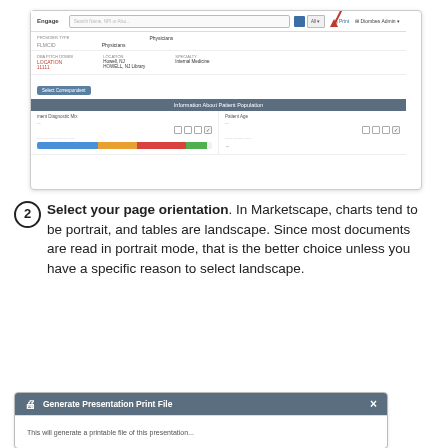[Figure (screenshot): Screenshot of Marketscape/Engage application interface showing provider search, navigation bar with Print button highlighted by red arrow, provider information section, and patient population charts with colored bar segments.]
Select your page orientation. In Marketscape, charts tend to be portrait, and tables are landscape. Since most documents are read in portrait mode, that is the better choice unless you have a specific reason to select landscape.
[Figure (screenshot): Screenshot of Generate Presentation Print File dialog box with header bar and partial body text beginning 'This will generate a printable file of this presentation'.]